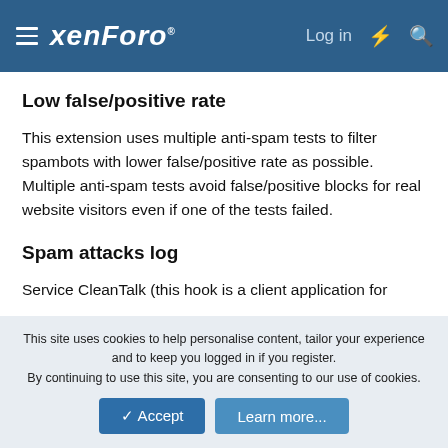xenForo — Log in
Low false/positive rate
This extension uses multiple anti-spam tests to filter spambots with lower false/positive rate as possible. Multiple anti-spam tests avoid false/positive blocks for real website visitors even if one of the tests failed.
Spam attacks log
Service CleanTalk (this hook is a client application for CleanTalk anti-spam service) records all filtered comments, registration and other spam attacks in the "Log of spam attacks" and stores the data in the log up to 45 days. Using the log, you can ensure reliable protection of your website from spam and no false/positive filtering.
This site uses cookies to help personalise content, tailor your experience and to keep you logged in if you register.
By continuing to use this site, you are consenting to our use of cookies.